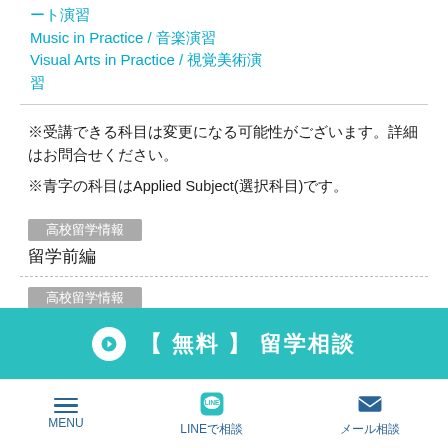ート演習
Music in Practice / 音楽演習
Visual Arts in Practice / 視覚美術演習
※受講できる科目は変更になる可能性がございます。詳細はお問合せください。
※青字の科目はApplied Subject(選択科目)です。
高校留学情報
留学前編
高校留学情報
生活編
➡ 【 無料 】 留学相談
MENU　LINEで相談　メール相談